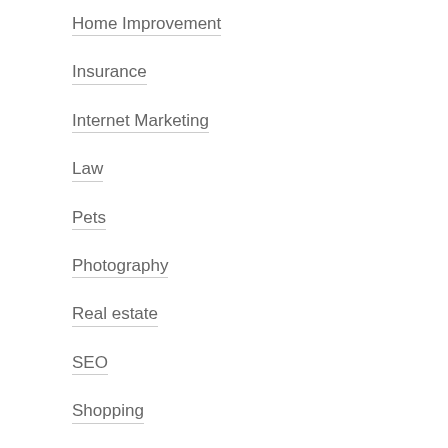Home Improvement
Insurance
Internet Marketing
Law
Pets
Photography
Real estate
SEO
Shopping
Social Media
Software
Sports
Technology
Web Design